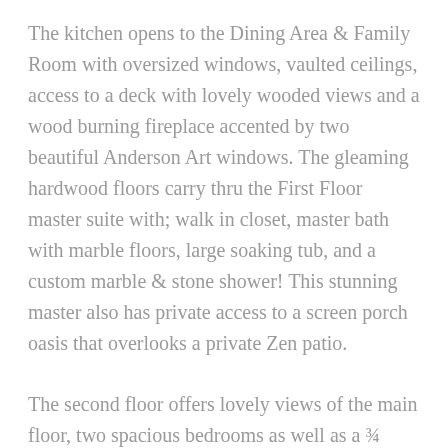The kitchen opens to the Dining Area & Family Room with oversized windows, vaulted ceilings, access to a deck with lovely wooded views and a wood burning fireplace accented by two beautiful Anderson Art windows. The gleaming hardwood floors carry thru the First Floor master suite with; walk in closet, master bath with marble floors, large soaking tub, and a custom marble & stone shower! This stunning master also has private access to a screen porch oasis that overlooks a private Zen patio.
The second floor offers lovely views of the main floor, two spacious bedrooms as well as a ¾ Bathroom. The finished, daylight,